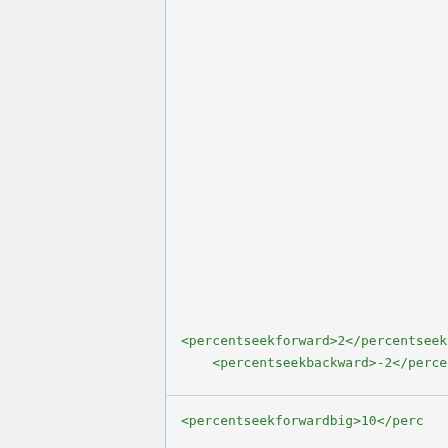<percentseekforward>2</percentseekforward>
    <percentseekbackward>-2</percentseekbackward>
<percentseekforwardbig>10</percentseekforwardbig>